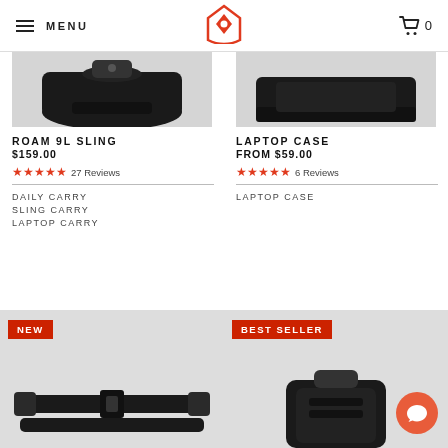MENU  [logo]  Cart 0
[Figure (photo): Partial cropped product photo of ROAM 9L SLING bag, bottom portion visible on gray background]
ROAM 9L SLING
$159.00
★★★★★ 27 Reviews
DAILY CARRY
SLING CARRY
LAPTOP CARRY
[Figure (photo): Partial cropped product photo of LAPTOP CASE, bottom portion visible on gray background]
LAPTOP CASE
FROM $59.00
★★★★★ 6 Reviews
LAPTOP CASE
[Figure (photo): Bottom product card with NEW badge, showing a black strap/carry accessory on gray background]
[Figure (photo): Bottom product card with BEST SELLER badge, showing a black bag/case on gray background]